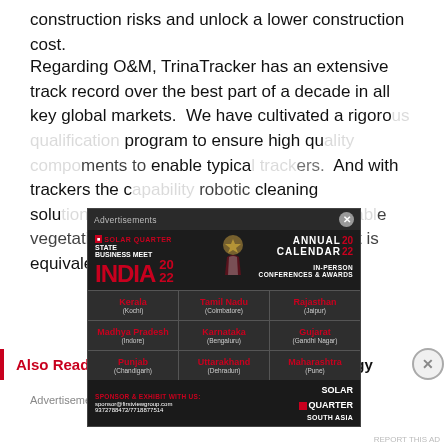construction risks and unlock a lower construction cost.
Regarding O&M, TrinaTracker has an extensive track record over the best part of a decade in all key global markets. We have cultivated a rigorous qualification program to ensure high quality components to enable typical... And with trackers the c... robotic cleaning solu... eded access between the r... e vegetation management, ...&M cost is equivalent or ...ns.
[Figure (infographic): Solar Quarter State Business Meet India 2022 Annual Calendar in-person conferences & awards advertisement. Grid shows Indian states: Kerala (Kochi), Tamil Nadu (Coimbatore), Rajasthan (Jaipur), Madhya Pradesh (Indore), Karnataka (Bengaluru), Gujarat (Gandhi Nagar), Punjab (Chandigarh), Uttarakhand (Dehradun), Maharashtra (Pune). Contact: sponsor@firstviewgroup.com, 9372788472/7718877514]
Also Read  Greenary Enters German Solar Energy
Advertisements